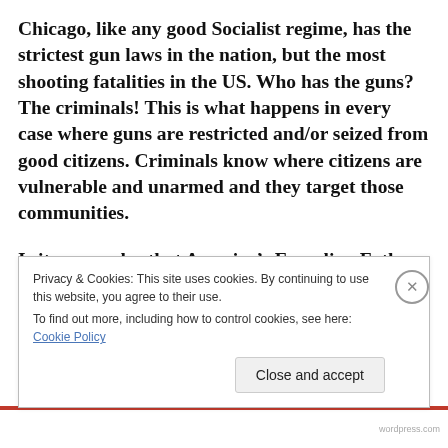Chicago, like any good Socialist regime, has the strictest gun laws in the nation, but the most shooting fatalities in the US. Who has the guns? The criminals! This is what happens in every case where guns are restricted and/or seized from good citizens. Criminals know where citizens are vulnerable and unarmed and they target those communities.
Is it no wonder that America's Founding Fathers came up with the Second Amendment for our protection against, not only common criminals and killers, but
Privacy & Cookies: This site uses cookies. By continuing to use this website, you agree to their use.
To find out more, including how to control cookies, see here: Cookie Policy